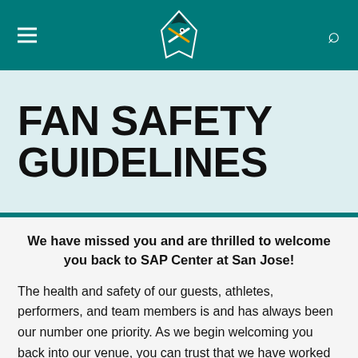San Jose Sharks navigation header with logo
FAN SAFETY GUIDELINES
We have missed you and are thrilled to welcome you back to SAP Center at San Jose!
The health and safety of our guests, athletes, performers, and team members is and has always been our number one priority. As we begin welcoming you back into our venue, you can trust that we have worked closely with state and local health officials to responsibly